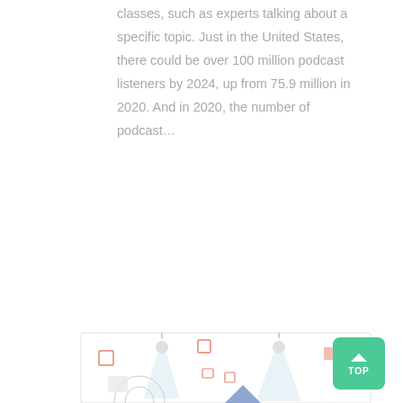classes, such as experts talking about a specific topic. Just in the United States, there could be over 100 million podcast listeners by 2024, up from 75.9 million in 2020. And in 2020, the number of podcast…
♥ 0   💬 0
🏷 Web Design & Development
Share   f   🐦   g+   in
[Figure (illustration): Partial view of a website or app illustration showing spotlights, floating geometric shapes (squares, rectangles), and a globe/wheel graphic at the bottom. A green 'TOP' button with an upward arrow chevron is in the lower right corner.]